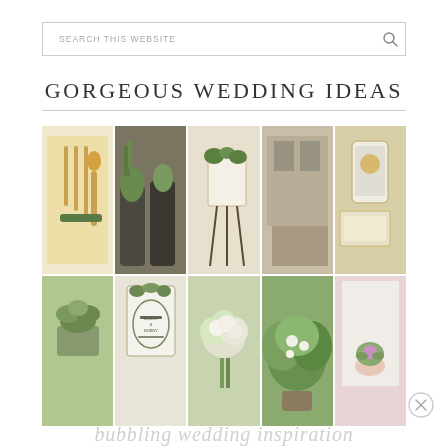SEARCH THIS WEBSITE
GORGEOUS WEDDING IDEAS
[Figure (photo): A collage grid of 10 wedding-related photos arranged in 2 rows of 5: bamboo cutlery tied with greenery, air plants in dark bottles, a greenery-decorated sign on an iron stand, a rustic room with decorations, a phone with wedding app and stationery; succulents in a pot, a botanical wedding invitation for Molly and Bobby, a white and green bouquet, a lush green floral arrangement, a bride holding a succulent boutonniere.]